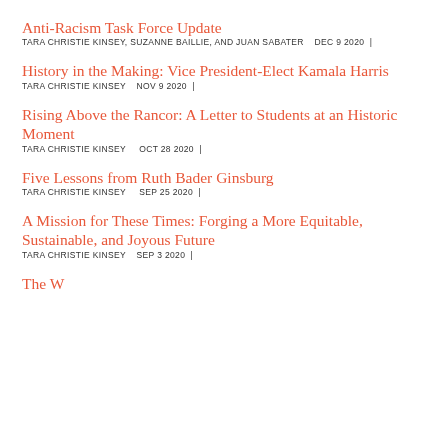Anti-Racism Task Force Update
TARA CHRISTIE KINSEY, SUZANNE BAILLIE, AND JUAN SABATER    DEC 9 2020  |
History in the Making: Vice President-Elect Kamala Harris
TARA CHRISTIE KINSEY    NOV 9 2020  |
Rising Above the Rancor: A Letter to Students at an Historic Moment
TARA CHRISTIE KINSEY    OCT 28 2020  |
Five Lessons from Ruth Bader Ginsburg
TARA CHRISTIE KINSEY    SEP 25 2020  |
A Mission for These Times: Forging a More Equitable, Sustainable, and Joyous Future
TARA CHRISTIE KINSEY    SEP 3 2020  |
The W... in the A...